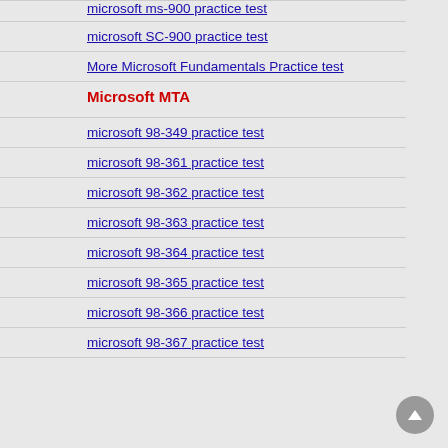microsoft ms-900 practice test
microsoft SC-900 practice test
More Microsoft Fundamentals Practice test
Microsoft MTA
microsoft 98-349 practice test
microsoft 98-361 practice test
microsoft 98-362 practice test
microsoft 98-363 practice test
microsoft 98-364 practice test
microsoft 98-365 practice test
microsoft 98-366 practice test
microsoft 98-367 practice test